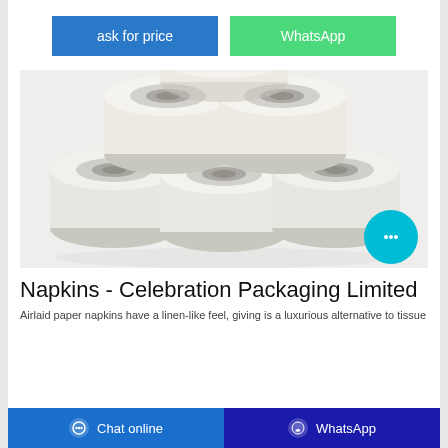[Figure (other): Two buttons: 'ask for price' (blue) and 'WhatsApp' (green)]
[Figure (photo): Six rolls of white tissue/toilet paper stacked in a pyramid arrangement on a white surface]
Napkins - Celebration Packaging Limited
Airlaid paper napkins have a linen-like feel, giving is a luxurious alternative to tissue
[Figure (other): Bottom navigation bar with 'Chat online' (blue) and 'WhatsApp' (dark blue) buttons]